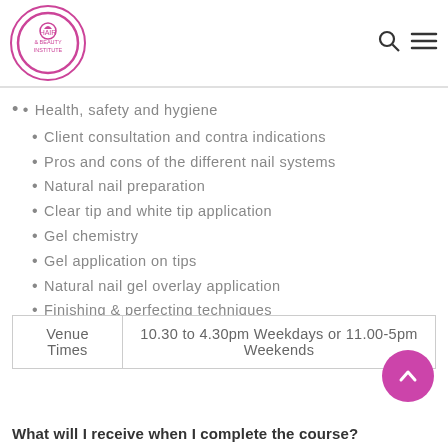Hair & Beauty Institute logo, search icon, menu icon
Health, safety and hygiene
Client consultation and contra indications
Pros and cons of the different nail systems
Natural nail preparation
Clear tip and white tip application
Gel chemistry
Gel application on tips
Natural nail gel overlay application
Finishing & perfecting techniques
Gel nail removal
Aftercare
| Venue Times | 10.30 to 4.30pm Weekdays or 11.00-5pm Weekends |
| --- | --- |
| Venue Times | 10.30 to 4.30pm Weekdays or 11.00-5pm Weekends |
What will I receive when I complete the course?